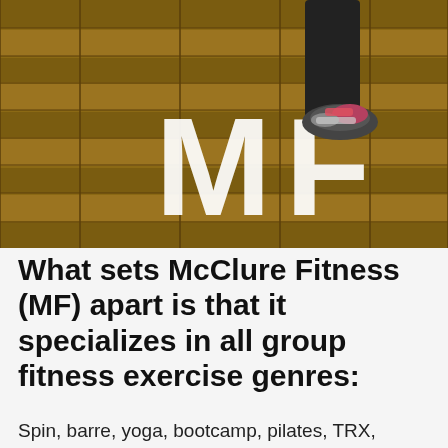[Figure (photo): Person in athletic wear and colorful sneakers jumping in front of a wooden plank wall with large white 'MF' letters mounted on it — branding for McClure Fitness.]
What sets McClure Fitness (MF) apart is that it specializes in all group fitness exercise genres:
Spin, barre, yoga, bootcamp, pilates, TRX, dance, strength training, HIIT, kickboxing and...